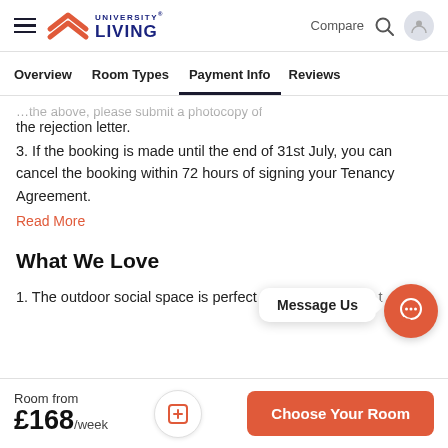University Living – Compare | Search | User
Overview  Room Types  Payment Info  Reviews
the rejection letter.
3. If the booking is made until the end of 31st July, you can cancel the booking within 72 hours of signing your Tenancy Agreement.
Read More
What We Love
1. The outdoor social space is perfect for evening strolls t…
Message Us
Room from £168/week  Choose Your Room